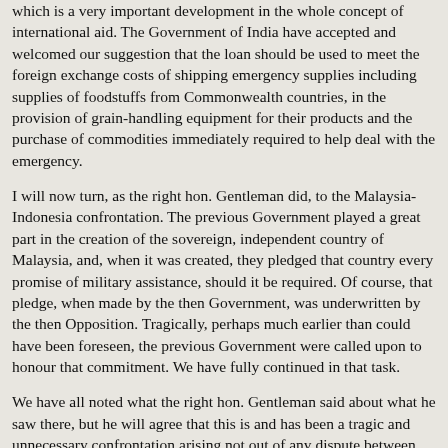which is a very important development in the whole concept of international aid. The Government of India have accepted and welcomed our suggestion that the loan should be used to meet the foreign exchange costs of shipping emergency supplies including supplies of foodstuffs from Commonwealth countries, in the provision of grain-handling equipment for their products and the purchase of commodities immediately required to help deal with the emergency.
I will now turn, as the right hon. Gentleman did, to the Malaysia-Indonesia confrontation. The previous Government played a great part in the creation of the sovereign, independent country of Malaysia, and, when it was created, they pledged that country every promise of military assistance, should it be required. Of course, that pledge, when made by the then Government, was underwritten by the then Opposition. Tragically, perhaps much earlier than could have been foreseen, the previous Government were called upon to honour that commitment. We have fully continued in that task.
We have all noted what the right hon. Gentleman said about what he saw there, but he will agree that this is and has been a tragic and unnecessary confrontation arising not out of any dispute between the nations concerned, but out of the determination of Indonesia that Malaysia, as a State, should not be allowed to exist at all. Indeed, so strongly did Indonesia feel that she left the United Nations because of